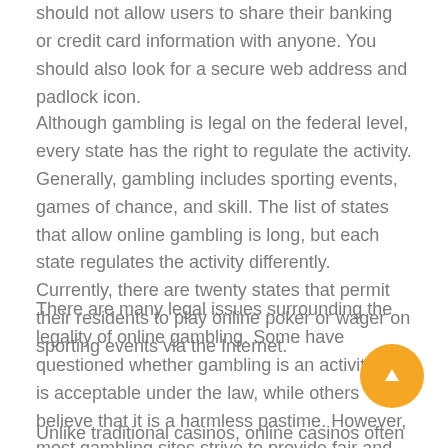should not allow users to share their banking or credit card information with anyone. You should also look for a secure web address and padlock icon.
Although gambling is legal on the federal level, every state has the right to regulate the activity. Generally, gambling includes sporting events, games of chance, and skill. The list of states that allow online gambling is long, but each state regulates the activity differently. Currently, there are twenty states that permit their residents to play online poker or wager on sporting events via the Internet.
There are many legal issues surrounding the legality of online gambling. Some have questioned whether gambling is an activity that is acceptable under the law, while others believe that it is a harmless pastime. However, most gambling sites strive to provide fair and secure gaming. These websites also allow players to set a limit on the amount of money they risk losing. In addition, there are laws ensuring that reputable bodies regulate the gambling industry and address any misconduct.
Unlike traditional casinos, online casinos often offer more games